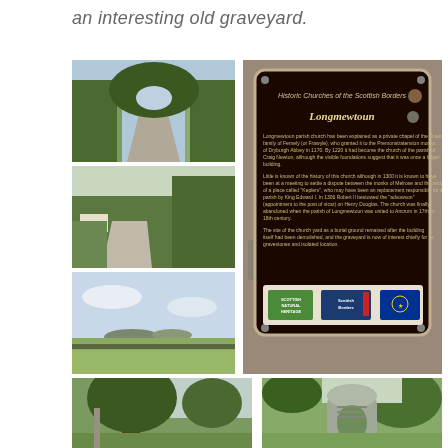an interesting old graveyard.
[Figure (photo): Collage of 5 photos: a rural road with overhanging tree, a road with signpost, a flat landscape with hills, a large information sign reading 'Historic Churches of the Scottish Borders - Longmewtoun', and two bottom photos showing a large tree and an old gravestone in a green setting.]